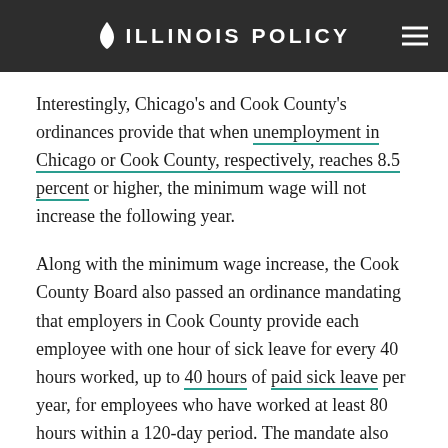ILLINOIS POLICY
Interestingly, Chicago's and Cook County's ordinances provide that when unemployment in Chicago or Cook County, respectively, reaches 8.5 percent or higher, the minimum wage will not increase the following year.
Along with the minimum wage increase, the Cook County Board also passed an ordinance mandating that employers in Cook County provide each employee with one hour of sick leave for every 40 hours worked, up to 40 hours of paid sick leave per year, for employees who have worked at least 80 hours within a 120-day period. The mandate also requires employers